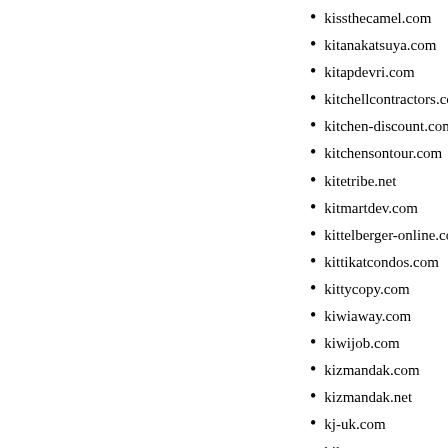kissthecamel.com
kitanakatsuya.com
kitapdevri.com
kitchellcontractors.com
kitchen-discount.com
kitchensontour.com
kitetribe.net
kitmartdev.com
kittelberger-online.com
kittikatcondos.com
kittycopy.com
kiwiaway.com
kiwijob.com
kizmandak.com
kizmandak.net
kj-uk.com
kjkattorney.com
kjvbibleondvd.com
kk068.com
kk068.net
kk669999.com
kk8268.com
kk8898.com
kkkjq.com
kkmv.net
kkpmtv28.com
kksex.net
kksnews.com